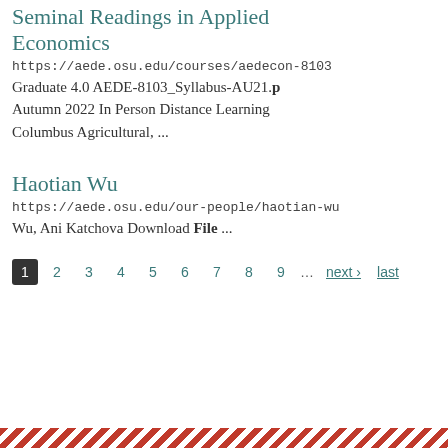Seminal Readings in Applied Economics
https://aede.osu.edu/courses/aedecon-8103
Graduate 4.0 AEDE-8103_Syllabus-AU21.p Autumn 2022 In Person Distance Learning Columbus Agricultural, ...
Haotian Wu
https://aede.osu.edu/our-people/haotian-wu
Wu, Ani Katchova Download File ...
1 2 3 4 5 6 7 8 9 … next › last
[Figure (other): Red and white diagonal stripe footer bar]